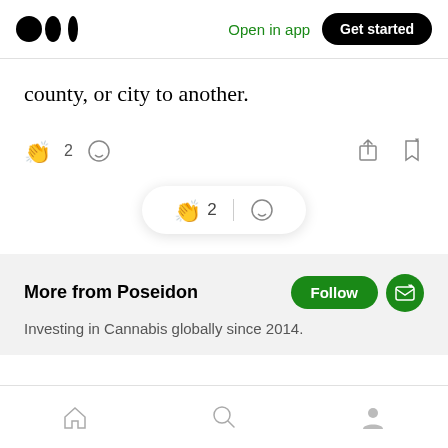Open in app | Get started
county, or city to another.
[Figure (screenshot): Reaction bar with clap icon showing 2 claps, comment icon, share icon, and bookmark icon]
[Figure (screenshot): Floating pill with clap icon showing 2 and comment icon]
More from Poseidon
Investing in Cannabis globally since 2014.
Bottom navigation bar with home, search, and profile icons